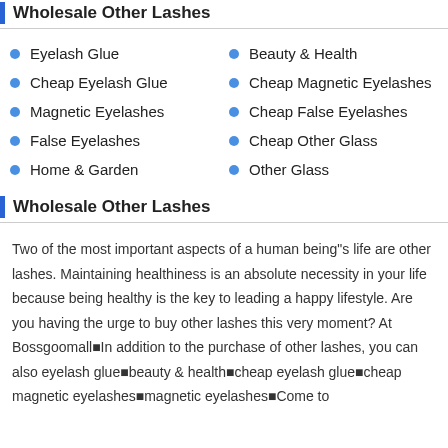Wholesale Other Lashes
Eyelash Glue
Cheap Eyelash Glue
Magnetic Eyelashes
False Eyelashes
Home & Garden
Beauty & Health
Cheap Magnetic Eyelashes
Cheap False Eyelashes
Cheap Other Glass
Other Glass
Wholesale Other Lashes
Two of the most important aspects of a human being"s life are other lashes. Maintaining healthiness is an absolute necessity in your life because being healthy is the key to leading a happy lifestyle. Are you having the urge to buy other lashes this very moment? At Bossgoomall■In addition to the purchase of other lashes, you can also eyelash glue■beauty & health■cheap eyelash glue■cheap magnetic eyelashes■magnetic eyelashes■Come to